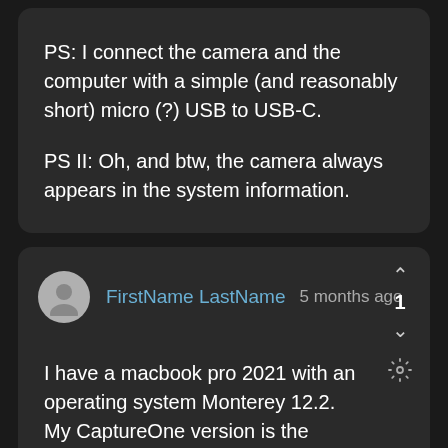PS: I connect the camera and the computer with a simple (and reasonably short) micro (?) USB to USB-C.

PS II: Oh, and btw, the camera always appears in the system information.
FirstName LastName  5 months ago
I have a macbook pro 2021 with an operating system Monterey 12.2. My CaptureOne version is the newest 15.2 so its all compatible. When I try to shoot tethered with Canon 5D mark IV it says